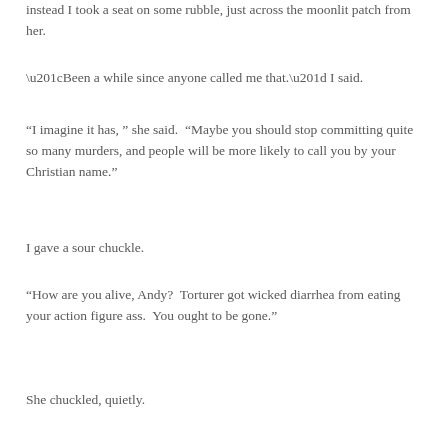instead I took a seat on some rubble, just across the moonlit patch from her.
“Been a while since anyone called me that.” I said.
“I imagine it has, ” she said.  “Maybe you should stop committing quite so many murders, and people will be more likely to call you by your Christian name.”
I gave a sour chuckle.
“How are you alive, Andy?  Torturer got wicked diarrhea from eating your action figure ass.  You ought to be gone.”
She chuckled, quietly.